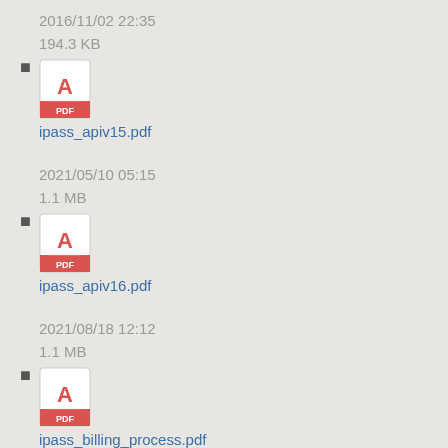2016/11/02 22:35
194.3 KB
ipass_apiv15.pdf
2021/05/10 05:15
1.1 MB
ipass_apiv16.pdf
2021/08/18 12:12
1.1 MB
ipass_billing_process.pdf
2013/11/06 22:35
855.2 KB